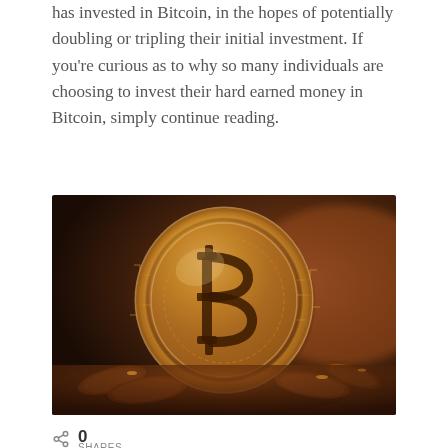has invested in Bitcoin, in the hopes of potentially doubling or tripling their initial investment. If you're curious as to why so many individuals are choosing to invest their hard earned money in Bitcoin, simply continue reading.
[Figure (photo): A gold Bitcoin coin standing upright on a pile of other coins, with a dark warm brown bokeh background. The coin displays the Bitcoin logo (B with two vertical strokes) and circuit-like engravings.]
0 SHARES